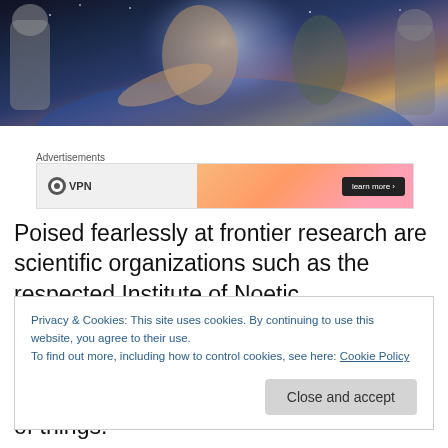[Figure (photo): Doctor Who style promotional photo showing two figures in dramatic pose against a space/Earth background with robotic figures in the background]
Advertisements
[Figure (screenshot): Advertisement banner with VPN logo on left and orange/pink gradient on right with a dark button]
Poised fearlessly at frontier research are scientific organizations such as the respected Institute of Noetic
Privacy & Cookies: This site uses cookies. By continuing to use this website, you agree to their use.
To find out more, including how to control cookies, see here: Cookie Policy
Close and accept
of things."